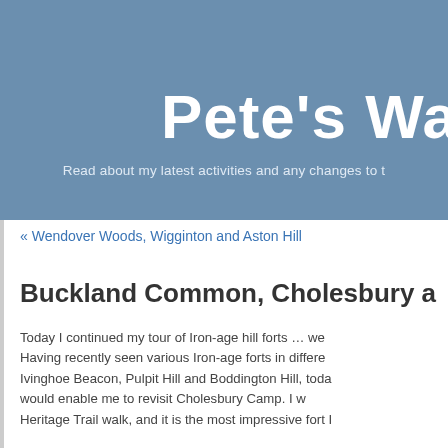Pete’s Wa
Read about my latest activities and any changes to t
« Wendover Woods, Wigginton and Aston Hill
Buckland Common, Cholesbury a
Today I continued my tour of Iron-age hill forts … we Having recently seen various Iron-age forts in differe Ivinghoe Beacon, Pulpit Hill and Boddington Hill, toda would enable me to revisit Cholesbury Camp. I w Heritage Trail walk, and it is the most impressive fort I
I started the walk at Buckland Common, where I start the Chiltern Way this spring. In fact, for the early par